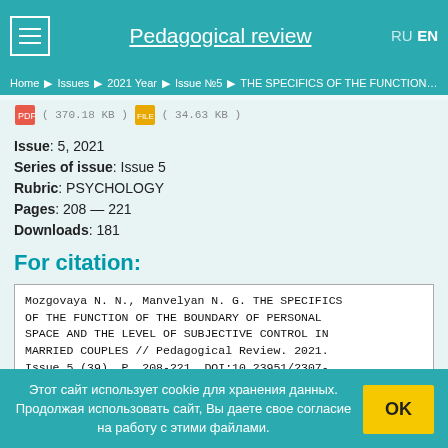Pedagogical review  RU  EN
Home ▶ Issues ▶ 2021 Year ▶ Issue №5 ▶ THE SPECIFICS OF THE FUNCTION O...
( 370.18 KB )  ( 34.63 KB )
Issue: 5, 2021
Series of issue: Issue 5
Rubric: PSYCHOLOGY
Pages: 208 — 221
Downloads: 181
For citation:
Mozgovaya N. N., Manvelyan N. G. THE SPECIFICS OF THE FUNCTION OF THE BOUNDARY OF PERSONAL SPACE AND THE LEVEL OF SUBJECTIVE CONTROL IN MARRIED COUPLES // Pedagogical Review. 2021. Issue 5 (39). P. 208-221. DOI:10.23951/2307-6127-2021-5-208-221
Этот сайт использует cookie для хранения данных. Продолжая использовать сайт, Вы даете свое согласие на работу с этими файлами.  OK